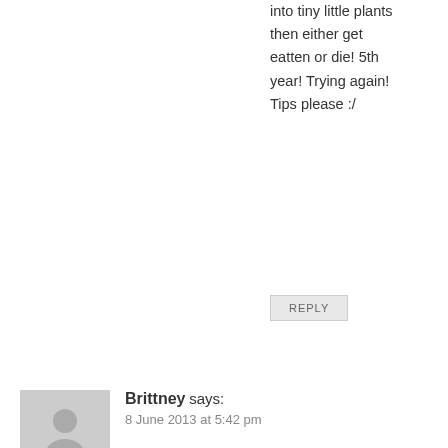into tiny little plants then either get eatten or die! 5th year! Trying again! Tips please :/
REPLY
Brittney says:
8 June 2013 at 5:42 pm
Hi there! So I live in Las Vegas Nevada, and my cucamelons have taken OFF!!! they are growing out of control!! And I see a bunch of little flowers and buds starting to form, however after a few days the little cuca buds turn black and die. They have direct sunlight only in the morning when the temps are